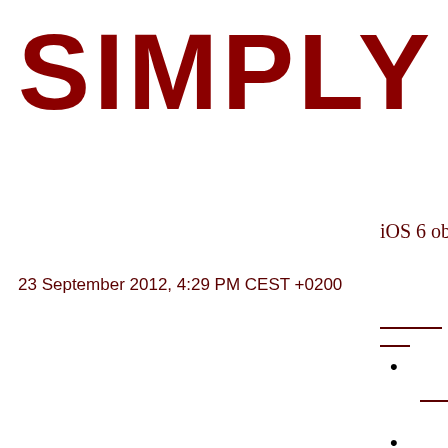SIMPLY JO
iOS 6 observ
23 September 2012, 4:29 PM CEST +0200
•
•